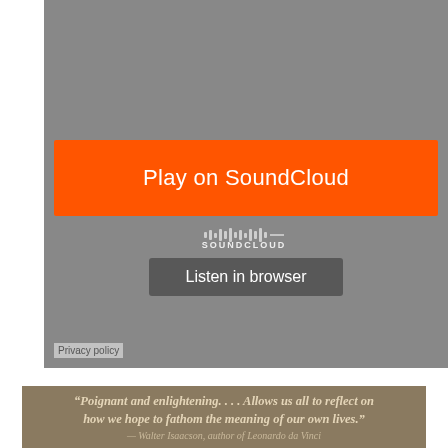[Figure (screenshot): SoundCloud embedded player screenshot with gray background, orange 'Play on SoundCloud' button, SoundCloud waveform logo, and 'Listen in browser' dark button. Privacy policy link in bottom-left corner.]
“Poignant and enlightening. . . . Allows us all to reflect on how we hope to fathom the meaning of our own lives.”
Walter Isaacson, author of Leonardo da Vinci